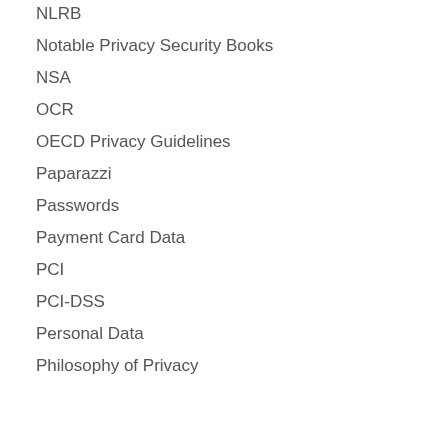NLRB
Notable Privacy Security Books
NSA
OCR
OECD Privacy Guidelines
Paparazzi
Passwords
Payment Card Data
PCI
PCI-DSS
Personal Data
Philosophy of Privacy